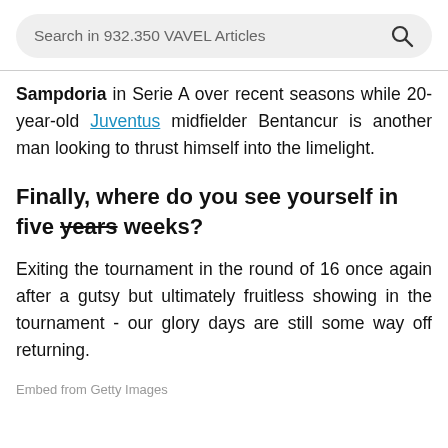[Figure (screenshot): Search bar with text 'Search in 932.350 VAVEL Articles' and a search icon on the right, on a light grey rounded rectangle background.]
Sampdoria in Serie A over recent seasons while 20-year-old Juventus midfielder Bentancur is another man looking to thrust himself into the limelight.
Finally, where do you see yourself in five years weeks?
Exiting the tournament in the round of 16 once again after a gutsy but ultimately fruitless showing in the tournament - our glory days are still some way off returning.
Embed from Getty Images